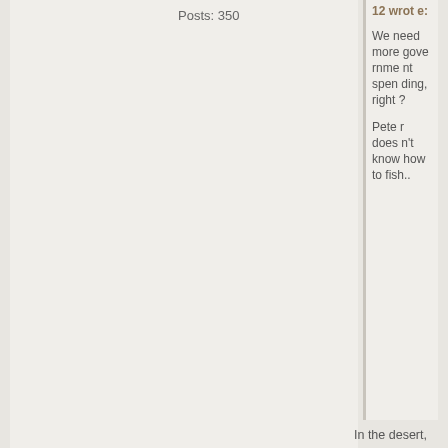Posts: 350
12 wrote: We need more government spending, right? Peter doesn't know how to fish..
In the desert,